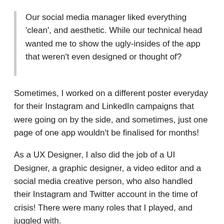Our social media manager liked everything ‘clean’, and aesthetic. While our technical head wanted me to show the ugly-insides of the app that weren’t even designed or thought of?
Sometimes, I worked on a different poster everyday for their Instagram and LinkedIn campaigns that were going on by the side, and sometimes, just one page of one app wouldn’t be finalised for months!
As a UX Designer, I also did the job of a UI Designer, a graphic designer, a video editor and a social media creative person, who also handled their Instagram and Twitter account in the time of crisis! There were many roles that I played, and juggled with.
But all in all, I am happy that I survived such a hectic, disorganised and chaotic work environment. And I am sure the way many companies are just coming up, a lot of new designers are down the same path, or already struggling and juggling different roles in their